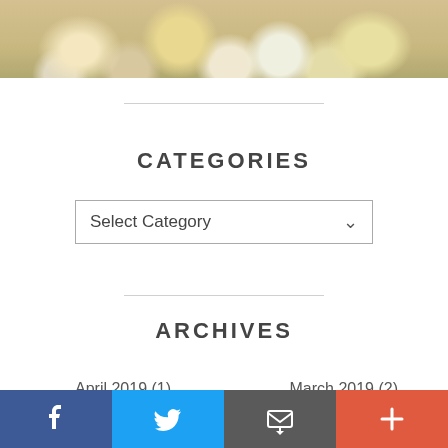[Figure (photo): Close-up photo of colorful Easter eggs or candy-coated chocolate balls in yellow, cream, and white tones]
CATEGORIES
Select Category
ARCHIVES
April 2019 (1)
March 2019 (2)
[Figure (infographic): Social media share bar with Facebook, Twitter, Email, and Plus buttons]